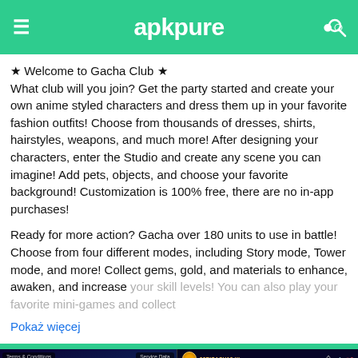apkpure
★ Welcome to Gacha Club ★
What club will you join? Get the party started and create your own anime styled characters and dress them up in your favorite fashion outfits! Choose from thousands of dresses, shirts, hairstyles, weapons, and much more! After designing your characters, enter the Studio and create any scene you can imagine! Add pets, objects, and choose your favorite background! Customization is 100% free, there are no in-app purchases!
Ready for more action? Gacha over 180 units to use in battle! Choose from four different modes, including Story mode, Tower mode, and more! Collect gems, gold, and materials to enhance, awaken, and increase your skill levels! You can also play your favorite mini-games and collect
Pokaż więcej
[Figure (screenshot): Gacha Club app screenshot showing title screen with anime chibi characters and GACHA CLUB logo badge]
[Figure (screenshot): Gacha Club app screenshot showing two anime characters named LUNI in a battle/character view]